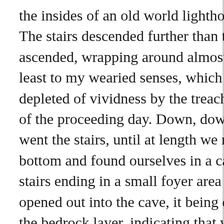the insides of an old world lighthouse tower. The stairs descended further than the tree ascended, wrapping around almost infinitely, at least to my wearied senses, which were depleted of vividness by the treacherous toils of the proceeding day. Down, down, down went the stairs, until at length we reached the bottom and found ourselves in a cave, the stairs ending in a small foyer area which opened out into the cave, it being delved into the bedrock layer, indicating that we had indeed passed below the surface on our descent. The passage was really a narrow defile with high